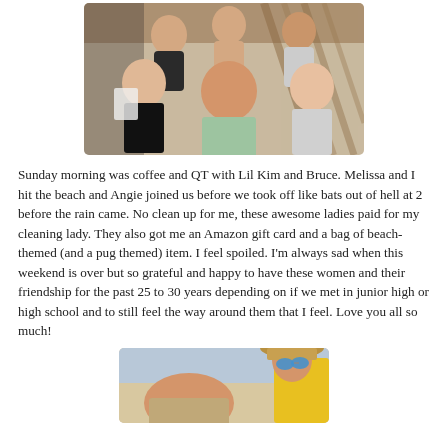[Figure (photo): Group selfie photo of five smiling women under a striped awning or pergola at what appears to be a beach or outdoor venue.]
Sunday morning was coffee and QT with Lil Kim and Bruce. Melissa and I hit the beach and Angie joined us before we took off like bats out of hell at 2 before the rain came. No clean up for me, these awesome ladies paid for my cleaning lady. They also got me an Amazon gift card and a bag of beach-themed (and a pug themed) item. I feel spoiled. I'm always sad when this weekend is over but so grateful and happy to have these women and their friendship for the past 25 to 30 years depending on if we met in junior high or high school and to still feel the way around them that I feel. Love you all so much!
[Figure (photo): Partial photo of two people at the beach, one wearing a straw hat with blue mirrored sunglasses and a yellow outfit.]